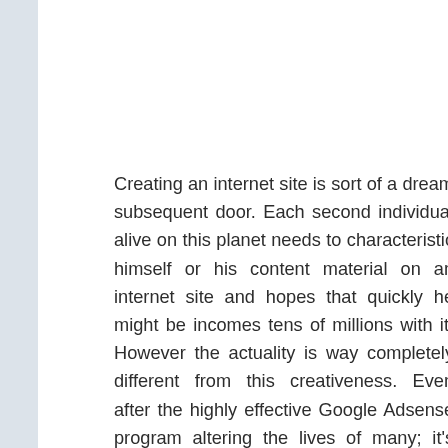Creating an internet site is sort of a dream subsequent door. Each second individual alive on this planet needs to characteristic himself or his content material on an internet site and hopes that quickly he might be incomes tens of millions with it. However the actuality is way completely different from this creativeness. Even after the highly effective Google Adsense program altering the lives of many; it's nonetheless very tough to earn an honest sum of money. You must publish distinctive content material every now and then in addition to maintain the search engine optimisation work